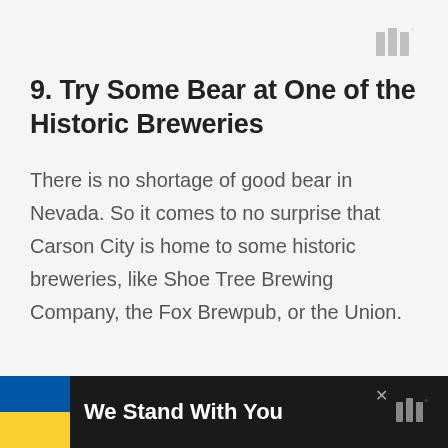[Figure (logo): Wired-style logo mark (three vertical bars) with superscript degree symbol, top right corner, light gray]
9. Try Some Bear at One of the Historic Breweries
There is no shortage of good bear in Nevada. So it comes to no surprise that Carson City is home to some historic breweries, like Shoe Tree Brewing Company, the Fox Brewpub, or the Union.
[Figure (infographic): Bottom advertisement bar with Ukrainian flag (blue and yellow), bold white text 'We Stand With You', close button, and logo mark at right]